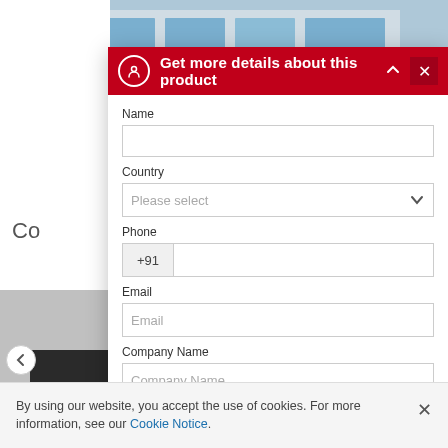[Figure (screenshot): Screenshot of a product detail form modal overlay on a website. The modal has a red header with 'Get more details about this product', and contains form fields for Name, Country (dropdown with 'Please select'), Phone (+91 prefix), Email, Company Name, and City/Pin Code fields at the bottom. Behind the modal is a building photo and white background. A cookie consent banner appears at the bottom of the page.]
Get more details about this product
Name
Country
Please select
Phone
+91
Email
Email
Company Name
Company Name
City
Pin Code
By using our website, you accept the use of cookies. For more information, see our Cookie Notice.